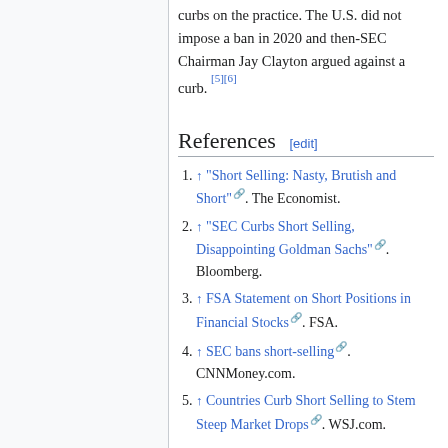curbs on the practice. The U.S. did not impose a ban in 2020 and then-SEC Chairman Jay Clayton argued against a curb. [5][6]
References [edit]
↑ "Short Selling: Nasty, Brutish and Short". The Economist.
↑ "SEC Curbs Short Selling, Disappointing Goldman Sachs". Bloomberg.
↑ FSA Statement on Short Positions in Financial Stocks. FSA.
↑ SEC bans short-selling. CNNMoney.com.
↑ Countries Curb Short Selling to Stem Steep Market Drops. WSJ.com.